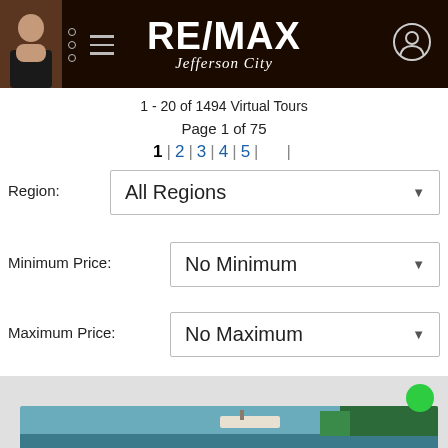[Figure (screenshot): RE/MAX Jefferson City website header with logo, agent photo, hamburger menu, and user icon on dark brown background]
1 - 20 of 1494 Virtual Tours
Page 1 of 75
1 | 2 | 3 | 4 | 5 | |
Region:
All Regions
Minimum Price:
No Minimum
Maximum Price:
No Maximum
[Figure (photo): Lake/waterfront property photo with boat dock and trees in background]